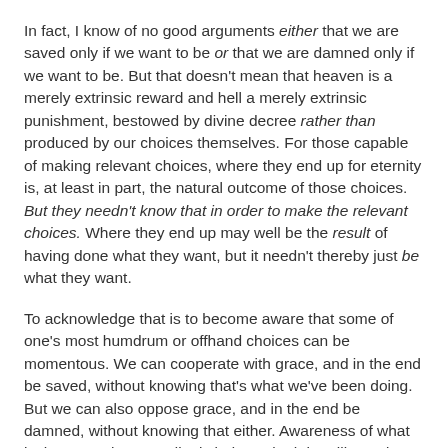In fact, I know of no good arguments either that we are saved only if we want to be or that we are damned only if we want to be. But that doesn't mean that heaven is a merely extrinsic reward and hell a merely extrinsic punishment, bestowed by divine decree rather than produced by our choices themselves. For those capable of making relevant choices, where they end up for eternity is, at least in part, the natural outcome of those choices. But they needn't know that in order to make the relevant choices. Where they end up may well be the result of having done what they want, but it needn't thereby just be what they want.
To acknowledge that is to become aware that some of one's most humdrum or offhand choices can be momentous. We can cooperate with grace, and in the end be saved, without knowing that's what we've been doing. But we can also oppose grace, and in the end be damned, without knowing that either. Awareness of what is thus at stake accordingly induces both humility and vigilance. When cultivated further by a sincere search for truth, those can only aid us in our spiritual combat.